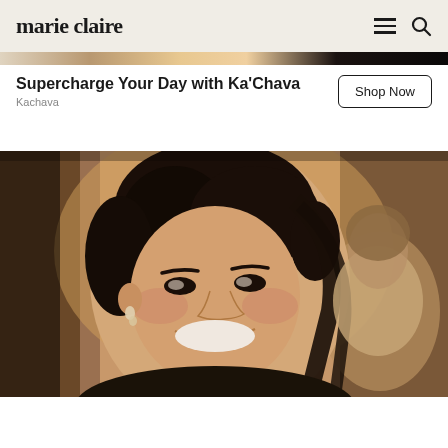marie claire
[Figure (photo): Partial view of a colorful advertisement image at the top of the page, cropped]
Supercharge Your Day with Ka’Chava
Kachava
[Figure (photo): Close-up portrait of a smiling woman with dark hair pulled up, wearing earrings, with another person partially visible behind her, against a stone wall background]